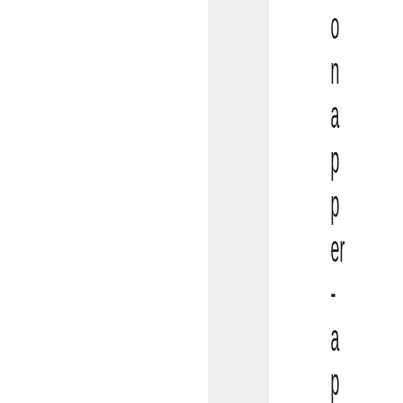on apper-appbasisfea tures. The